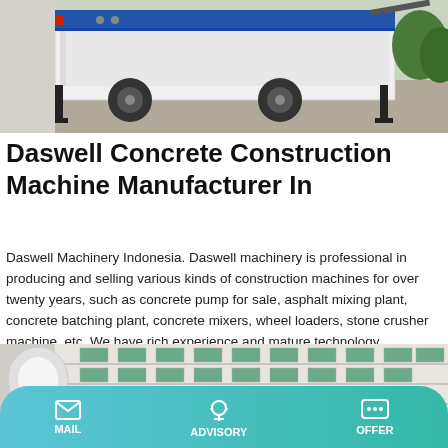[Figure (photo): Partial view of a concrete pump machine on a trailer, white and blue, outdoors on gravel]
Daswell Concrete Construction Machine Manufacturer In
Daswell Machinery Indonesia. Daswell machinery is professional in producing and selling various kinds of construction machines for over twenty years, such as concrete pump for sale, asphalt mixing plant, concrete batching plant, concrete mixers, wheel loaders, stone crusher machine, etc. We have rich experience and mature technology.
[Figure (photo): Partial view of a large white industrial building with green-framed windows, multiple floors]
MAIL  ADVISORY  OFFER